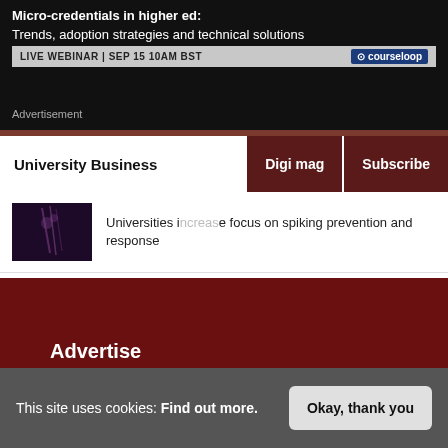[Figure (screenshot): Advertisement banner for Courseloop webinar on micro-credentials in higher education]
Advertisement
University Business | Digi mag | Subscribe
[Figure (photo): Dark purple/pink concert or event photo thumbnail]
Universities increase focus on spiking prevention and response
Advertise
This site uses cookies: Find out more.